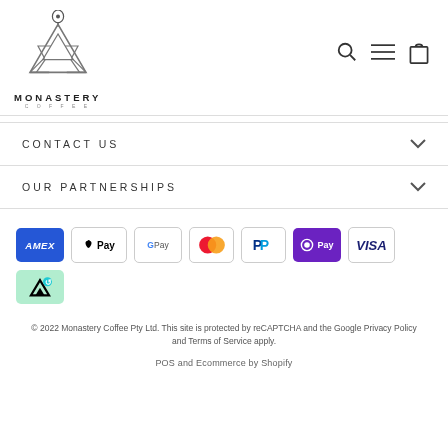[Figure (logo): Monastery Coffee geometric triangular logo with location pin icon above, text MONASTERY COFFEE below]
[Figure (other): Navigation icons: search magnifier, hamburger menu, shopping bag]
CONTACT US
OUR PARTNERSHIPS
[Figure (other): Payment method icons: American Express, Apple Pay, Google Pay, Mastercard, PayPal, OPay, Visa, Afterpay]
© 2022 Monastery Coffee Pty Ltd. This site is protected by reCAPTCHA and the Google Privacy Policy and Terms of Service apply.
POS and Ecommerce by Shopify